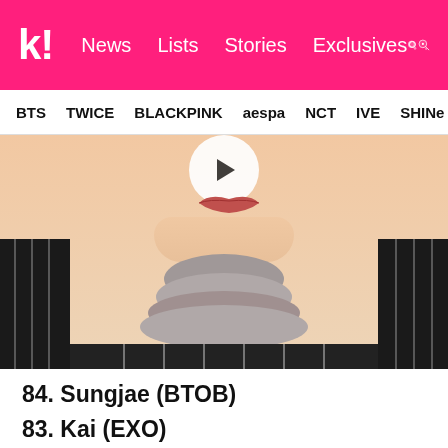k! News  Lists  Stories  Exclusives
BTS  TWICE  BLACKPINK  aespa  NCT  IVE  SHINee
[Figure (photo): Close-up photo of a young man's face (lower half) and neck, wearing a grey turtleneck collar and black striped shirt. A white circle with a play button is partially visible at the top center.]
84. Sungjae (BTOB)
83. Kai (EXO)
82. Lay (EXO)